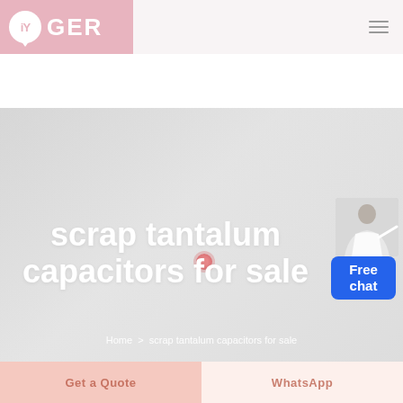[Figure (logo): IY GER company logo with location pin icon on pink background, followed by white header area with hamburger menu icon]
[Figure (illustration): Hero banner with light gray gradient background, large white bold text reading 'scrap tantalum capacitors for sale', a pink dot overlay, and a customer service person illustration in top right with a blue 'Free chat' button]
scrap tantalum capacitors for sale
Home > scrap tantalum capacitors for sale
[Figure (other): Bottom action bar with two buttons: 'Get a Quote' on pink/salmon background and 'WhatsApp' on light peach background]